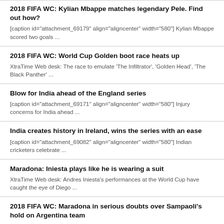2018 FIFA WC: Kylian Mbappe matches legendary Pele. Find out how?
[caption id="attachment_69179" align="aligncenter" width="580"] Kylian Mbappe scored two goals ...
2018 FIFA WC: World Cup Golden boot race heats up
XtraTime Web desk:   The race to emulate 'The Infiltrator', 'Golden Head', 'The Black Panther' ...
Blow for India ahead of the England series
[caption id="attachment_69171" align="aligncenter" width="580"] Injury concerns for India ahead ...
India creates history in Ireland, wins the series with an ease
[caption id="attachment_69082" align="aligncenter" width="580"] Indian cricketers celebrate ...
Maradona: Iniesta plays like he is wearing a suit
XtraTime Web desk: Andres Iniesta's performances at the World Cup have caught the eye of Diego ...
2018 FIFA WC: Maradona in serious doubts over Sampaoli's hold on Argentina team